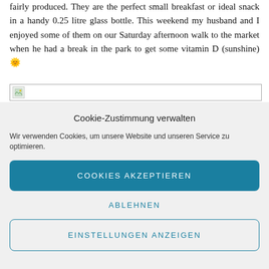fairly produced. They are the perfect small breakfast or ideal snack in a handy 0.25 litre glass bottle. This weekend my husband and I enjoyed some of them on our Saturday afternoon walk to the market when he had a break in the park to get some vitamin D (sunshine) 🌞
[Figure (photo): Broken image placeholder with small icon]
Cookie-Zustimmung verwalten
Wir verwenden Cookies, um unsere Website und unseren Service zu optimieren.
COOKIES AKZEPTIEREN
ABLEHNEN
EINSTELLUNGEN ANZEIGEN